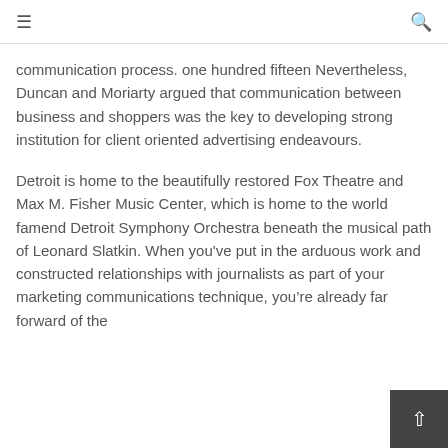≡  🔍
communication process. one hundred fifteen Nevertheless, Duncan and Moriarty argued that communication between business and shoppers was the key to developing strong institution for client oriented advertising endeavours.
Detroit is home to the beautifully restored Fox Theatre and Max M. Fisher Music Center, which is home to the world famend Detroit Symphony Orchestra beneath the musical path of Leonard Slatkin. When you've put in the arduous work and constructed relationships with journalists as part of your marketing communications technique, you're already far forward of the